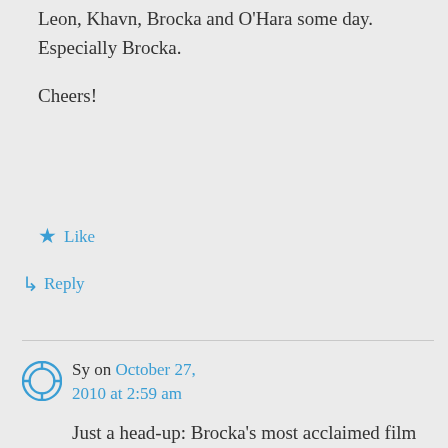Leon, Khavn, Brocka and O'Hara some day. Especially Brocka.
Cheers!
★ Like
↳ Reply
Sy on October 27, 2010 at 2:59 am
Just a head-up: Brocka's most acclaimed film “The Nail of Brightness” is